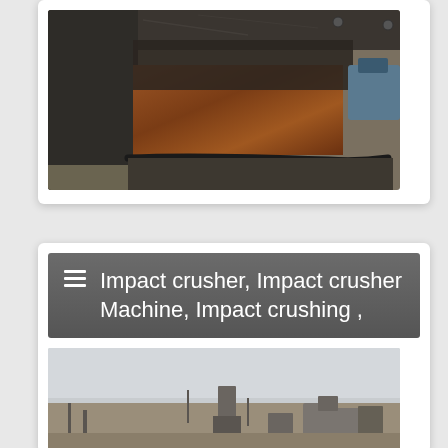[Figure (photo): Close-up photo of industrial crusher machine components showing metal plates, welds and structural parts with rust and dark metal surfaces]
[Figure (photo): Header banner with hamburger menu icon and text: Impact crusher, Impact crusher Machine, Impact crushing,]
Impact crusher, Impact crusher Machine, Impact crushing ,
[Figure (photo): Aerial or elevated view of an industrial crushing plant site with machinery and equipment visible against an overcast sky]